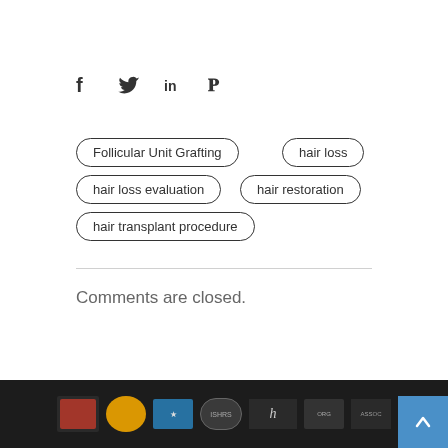[Figure (infographic): Social media sharing icons: Facebook (f), Twitter (bird), LinkedIn (in), Pinterest (P)]
Follicular Unit Grafting
hair loss
hair loss evaluation
hair restoration
hair transplant procedure
Comments are closed.
[logos: International Society of Hair Restoration Surgery, and other medical/professional organization logos] [scroll-to-top button]